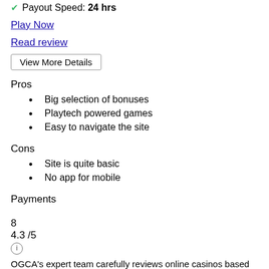Payout Speed: 24 hrs
Play Now
Read review
View More Details
Pros
Big selection of bonuses
Playtech powered games
Easy to navigate the site
Cons
Site is quite basic
No app for mobile
Payments
8
4.3 /5
OGCA's expert team carefully reviews online casinos based on various criteria, including: security, payout speed, win rate, bonuses. Find out more.